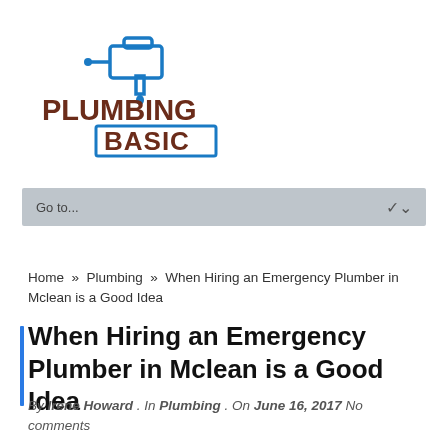[Figure (logo): Plumbing Basic logo with faucet icon. 'PLUMBING' in bold dark red/brown letters and 'BASIC' in bold dark red/brown letters inside a blue outlined box, with a blue faucet icon above.]
Go to...
Home » Plumbing » When Hiring an Emergency Plumber in Mclean is a Good Idea
When Hiring an Emergency Plumber in Mclean is a Good Idea
By Irene Howard . In Plumbing . On June 16, 2017 No comments